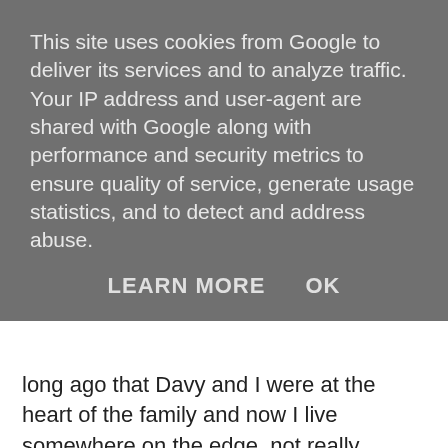This site uses cookies from Google to deliver its services and to analyze traffic. Your IP address and user-agent are shared with Google along with performance and security metrics to ensure quality of service, generate usage statistics, and to detect and address abuse.
LEARN MORE   OK
long ago that Davy and I were at the heart of the family and now I live somewhere on the edge, not really belonging anywhere and trying to understand many problems that have occurred since he died. The family dynamics have changed and I guess it will take me a while to adjust.
But I have so much to be thankful for. Last week I had a visit from my friend who first introduced me to Davy all those years ago. She lives in Spain now and we had a great time catching up. We are planning for me to visit her and her husband in the autumn, so that is something to look forward to.
And then I have my BIG TRIP to look forward to next March.